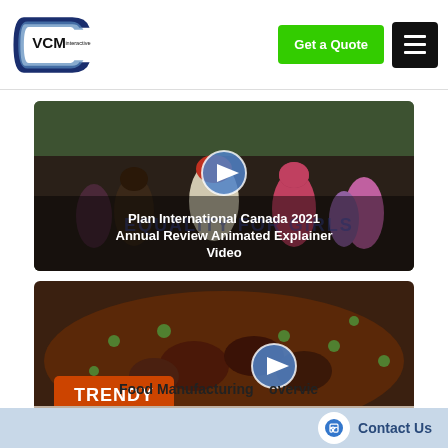[Figure (logo): VCM Interactive logo — stylized TV/monitor icon in blue with VCM text and 'interactive' subtitle]
Get a Quote
[Figure (photo): Video thumbnail showing group of African women walking, with play button overlay. Title overlay: 'Plan International Canada 2021 Annual Review Animated Explainer Video']
[Figure (photo): Video thumbnail showing food dish with 'TRENDY' and 'FAMILIAR' text overlays and play button. Partially visible title: 'Food Manufacturing... overview']
Contact Us